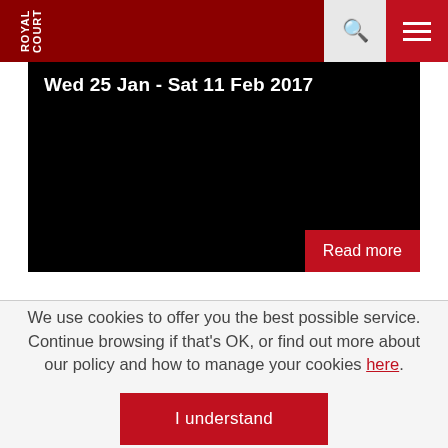Royal Court Theatre header with logo, search and menu icons
[Figure (screenshot): Black banner with date text 'Wed 25 Jan - Sat 11 Feb 2017' and a red 'Read more' button]
We use cookies to offer you the best possible service. Continue browsing if that's OK, or find out more about our policy and how to manage your cookies here.
I understand